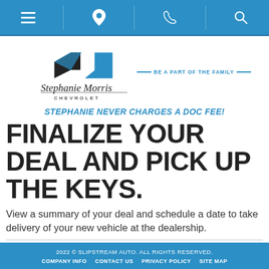Navigation bar with menu, location, phone, and search icons
[Figure (logo): Stephanie Morris Chevrolet logo with bowtie graphic and tagline BE A PART OF THE FAMILY]
STEPHANIE NEVER CHARGES A DOC FEE!
FINALIZE YOUR DEAL AND PICK UP THE KEYS.
View a summary of your deal and schedule a date to take delivery of your new vehicle at the dealership.
2022 © SLIPSTREAM AUTO. ALL RIGHTS RESERVED. COMPANY INFO  CONTACT US  PRIVACY POLICY  SITE MAP